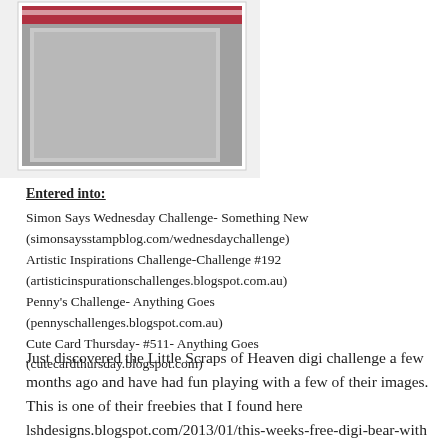[Figure (photo): A photograph of a handmade card with a red and white banner at the top on a grey background, placed within a white bordered frame on a light background.]
Entered into:
Simon Says Wednesday Challenge- Something New
(simonsaysstampblog.com/wednesdaychallenge)
Artistic Inspirations Challenge-Challenge #192
(artisticinspurationschallenges.blogspot.com.au)
Penny's Challenge- Anything Goes
(pennyschallenges.blogspot.com.au)
Cute Card Thursday- #511- Anything Goes
(cutecardthursday.blogspot.com)
Just discovered the Little Scraps of Heaven digi challenge a few months ago and have had fun playing with a few of their images. This is one of their freebies that I found here
lshdesigns.blogspot.com/2013/01/this-weeks-free-digi-bear-with